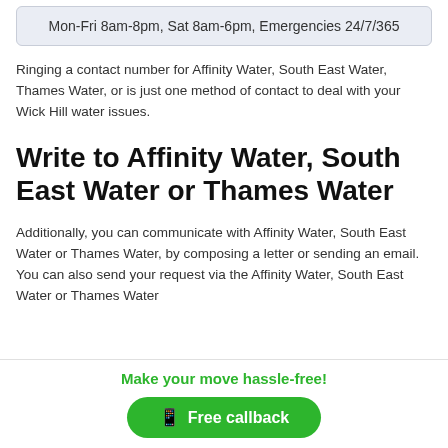| Mon-Fri 8am-8pm, Sat 8am-6pm, Emergencies 24/7/365 |
Ringing a contact number for Affinity Water, South East Water, Thames Water, or is just one method of contact to deal with your Wick Hill water issues.
Write to Affinity Water, South East Water or Thames Water
Additionally, you can communicate with Affinity Water, South East Water or Thames Water, by composing a letter or sending an email. You can also send your request via the Affinity Water, South East Water or Thames Water
Make your move hassle-free! Free callback